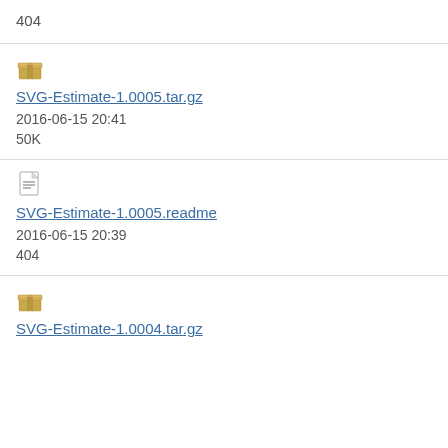404
[Figure (illustration): Archive/package icon (golden box)]
SVG-Estimate-1.0005.tar.gz
2016-06-15 20:41
50K
[Figure (illustration): Text/readme file icon]
SVG-Estimate-1.0005.readme
2016-06-15 20:39
404
[Figure (illustration): Archive/package icon (golden box)]
SVG-Estimate-1.0004.tar.gz